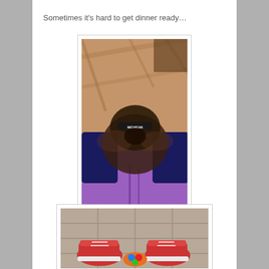Sometimes it’s hard to get dinner ready…
[Figure (photo): A blurry photo taken from above showing a dog jumping up toward the camera, with a purple jacket/shirt in the foreground and a wooden floor in the background.]
[Figure (photo): A photo showing a person's feet wearing red/pink sneakers standing on a tile floor, with a colorful toy or object nearby.]